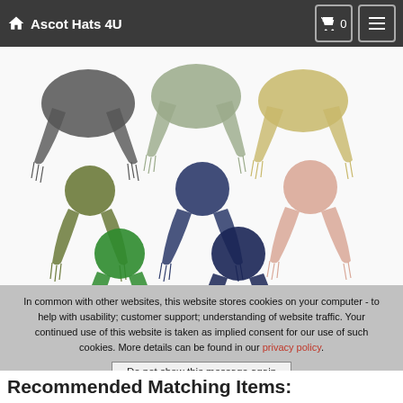Ascot Hats 4U
[Figure (photo): Six colorful pashmina/wool scarves displayed on a white background: top row shows grey, sage green, and yellow scarves; middle row shows olive green, navy blue, and blush pink scarves; bottom row shows bright green and dark navy blue scarves.]
In common with other websites, this website stores cookies on your computer - to help with usability; customer support; understanding of website traffic. Your continued use of this website is taken as implied consent for our use of such cookies. More details can be found in our privacy policy.
Do not show this message again
Recommended Matching Items: